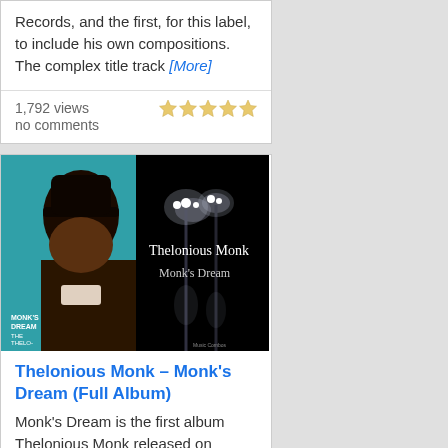Records, and the first, for this label, to include his own compositions. The complex title track [More]
1,792 views
no comments
[Figure (photo): Album cover collage: left side shows original Monk's Dream LP cover with Thelonious Monk in profile wearing a hat and suit; right side shows dark artistic photo with street lights and text 'Thelonious Monk / Monk's Dream']
Thelonious Monk – Monk's Dream (Full Album)
Monk's Dream is the first album Thelonious Monk released on Columbia Records. It was recorded in 1962 and issued the following year. AllMusic Review by Lindsay Planer: Monk's Dream is the Columbia Records debut release [More]